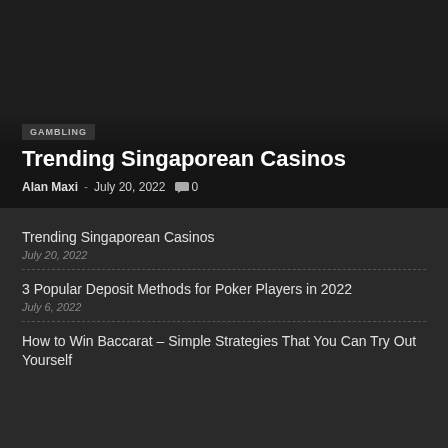GAMBLING
Trending Singaporean Casinos
Alan Maxi - July 20, 2022  0
Trending Singaporean Casinos
July 20, 2022
3 Popular Deposit Methods for Poker Players in 2022
July 6, 2022
How to Win Baccarat – Simple Strategies That You Can Try Out Yourself